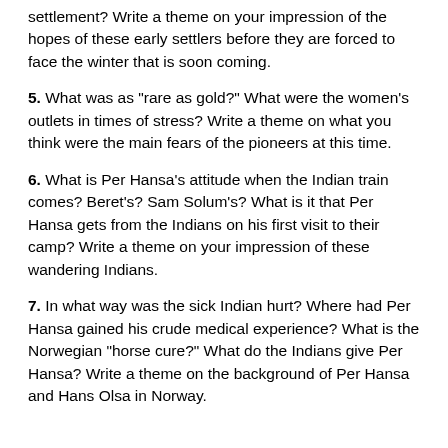settlement? Write a theme on your impression of the hopes of these early settlers before they are forced to face the winter that is soon coming.
5. What was as "rare as gold?" What were the women's outlets in times of stress? Write a theme on what you think were the main fears of the pioneers at this time.
6. What is Per Hansa's attitude when the Indian train comes? Beret's? Sam Solum's? What is it that Per Hansa gets from the Indians on his first visit to their camp? Write a theme on your impression of these wandering Indians.
7. In what way was the sick Indian hurt? Where had Per Hansa gained his crude medical experience? What is the Norwegian "horse cure?" What do the Indians give Per Hansa? Write a theme on the background of Per Hansa and Hans Olsa in Norway.